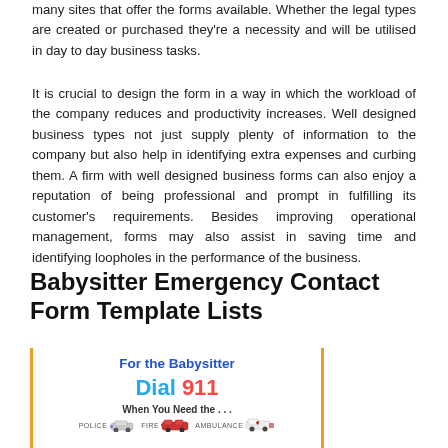many sites that offer the forms available. Whether the legal types are created or purchased they're a necessity and will be utilised in day to day business tasks.
It is crucial to design the form in a way in which the workload of the company reduces and productivity increases. Well designed business types not just supply plenty of information to the company but also help in identifying extra expenses and curbing them. A firm with well designed business forms can also enjoy a reputation of being professional and prompt in fulfilling its customer's requirements. Besides improving operational management, forms may also assist in saving time and identifying loopholes in the performance of the business.
Babysitter Emergency Contact Form Template Lists
[Figure (illustration): A babysitter emergency contact form template preview showing 'For the Babysitter' heading in blue, 'Dial 911' in cyan and red, 'When You Need the ...' text, and police/fire/ambulance icons, enclosed in a yellow/orange bordered box.]